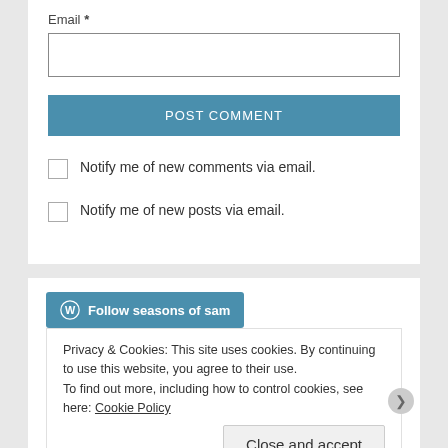Email *
[Figure (screenshot): Email input text box, empty, with border]
[Figure (screenshot): POST COMMENT button in blue/teal color]
Notify me of new comments via email.
Notify me of new posts via email.
[Figure (screenshot): Follow seasons of sam button with WordPress icon]
Privacy & Cookies: This site uses cookies. By continuing to use this website, you agree to their use.
To find out more, including how to control cookies, see here: Cookie Policy
Close and accept